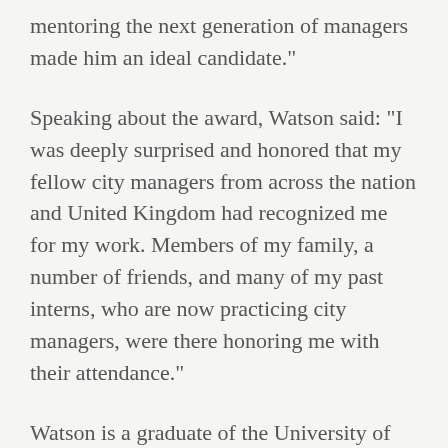mentoring the next generation of managers made him an ideal candidate.
Speaking about the award, Watson said: "I was deeply surprised and honored that my fellow city managers from across the nation and United Kingdom had recognized me for my work. Members of my family, a number of friends, and many of my past interns, who are now practicing city managers, were there honoring me with their attendance."
Watson is a graduate of the University of Kansas, where he received his bachelor's and master's degrees in public administration in city management, the press release said. Watson was selected as city manager of Oak Ridge in